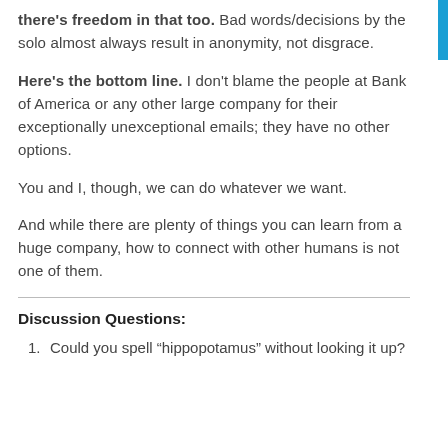there's freedom in that too. Bad words/decisions by the solo almost always result in anonymity, not disgrace.
Here's the bottom line. I don't blame the people at Bank of America or any other large company for their exceptionally unexceptional emails; they have no other options.
You and I, though, we can do whatever we want.
And while there are plenty of things you can learn from a huge company, how to connect with other humans is not one of them.
Discussion Questions:
Could you spell “hippopotamus” without looking it up?